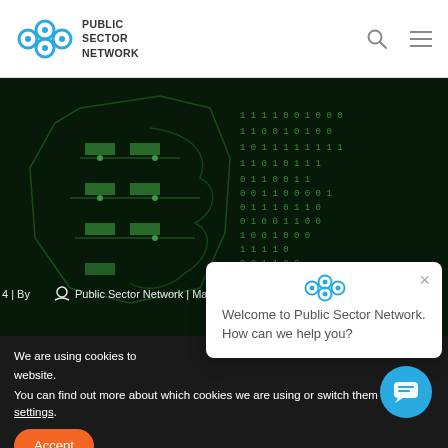PUBLIC SECTOR NETWORK
[Figure (screenshot): Dark hero image showing a circuit-board brain illustration with green binary code digits on a dark background. Overlay text reads: '4 | By Public Sector Network | May 21, 2021']
We are using cookies to ... website.
You can find out more about which cookies we are using or switch them off in settings.
[Figure (other): Chat popup widget with Public Sector Network logo, close button, and text: 'Welcome to Public Sector Network. How can we help you?']
Accept